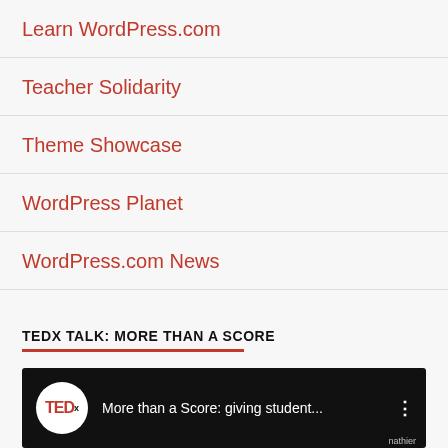Learn WordPress.com
Teacher Solidarity
Theme Showcase
WordPress Planet
WordPress.com News
TEDX TALK: MORE THAN A SCORE
[Figure (screenshot): TEDx Talk video thumbnail showing TEDx logo and title 'More than a Score: giving student...' on dark background]